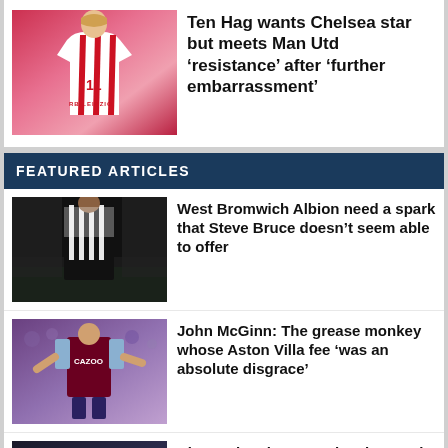[Figure (photo): Player holding RB Leipzig jersey at press conference]
Ten Hag wants Chelsea star but meets Man Utd ‘resistance’ after ‘further embarrassment’
FEATURED ARTICLES
[Figure (photo): West Bromwich Albion player in black and white striped kit on dark stadium pitch]
West Bromwich Albion need a spark that Steve Bruce doesn’t seem able to offer
[Figure (photo): John McGinn in Aston Villa claret and blue kit with Cazoo sponsor]
John McGinn: The grease monkey whose Aston Villa fee ‘was an absolute disgrace’
[Figure (photo): Football crowd and players for Big Weekend feature]
Big Weekend: Man Utd v Liverpool, Chelsea, David Moyes, Amadou Onana